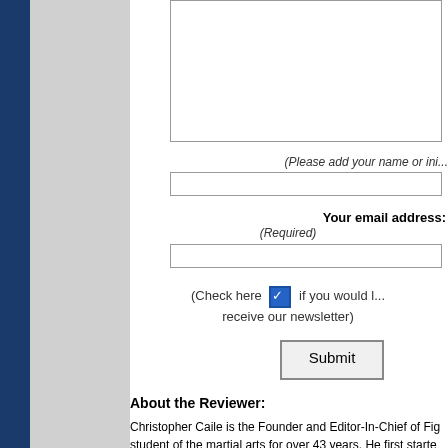(Please add your name or initials to your comment)
Your email address:
(Required)
(Check here if you would like to receive our newsletter)
Submit
About the Reviewer:
Christopher Caile is the Founder and Editor-In-Chief of Fig... student of the martial arts for over 43 years. He first starte... as a student of Phil Koeppel in 1959. Caile introduced kar... hitch-hiked eastward. In Japan (1961) he studied under M... became a Kyokushinkai Branch Chief. In 1976 he followed... when he formed Seido karate and is now a 6th degree bla... honbu dojo. Other experience includes judo, aikido, diato-... Muso-ryu jodo, boxing and several Chinese fighting arts in... (White Eyebrow) and shuai chiao. He is also a student of... branch of Traditional Chinese Medicine, Qigong, he is a p...